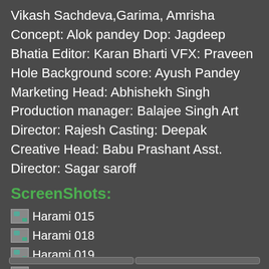Vikash Sachdeva,Garima, Amrisha Concept: Alok pandey Dop: Jagdeep Bhatia Editor: Karan Bharti VFX: Praveen Hole Background score: Ayush Pandey Marketing Head: Abhishekh Singh Production manager: Balajee Singh Art Director: Rajesh Casting: Deepak Creative Head: Babu Prashant Asst. Director: Sagar saroff
ScreenShots:
[Figure (photo): Thumbnail image placeholder for Harami 015]
Harami 015
[Figure (photo): Thumbnail image placeholder for Harami 018]
Harami 018
[Figure (photo): Thumbnail image placeholder for Harami 019]
Harami 019
[Figure (photo): Thumbnail image placeholder for Harami 032]
Harami 032
[18+] Harami (2020) Hindi 480p [80MB]